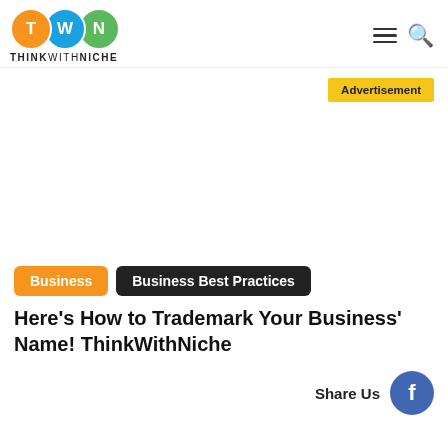[Figure (logo): ThinkWithNiche logo: three colored circles with letters T, W, N and the text THINKWITHNICHE below]
Advertisement
Business  Business Best Practices
Here's How to Trademark Your Business' Name! ThinkWithNiche
Share Us